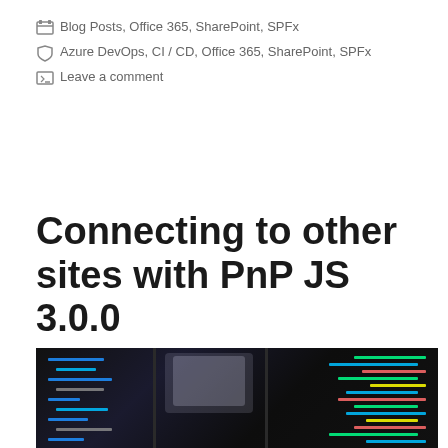Blog Posts, Office 365, SharePoint, SPFx
Azure DevOps, CI / CD, Office 365, SharePoint, SPFx
Leave a comment
Connecting to other sites with PnP JS 3.0.0
[Figure (photo): Dark background code editor screenshot showing multiple panes with colorful syntax-highlighted code]